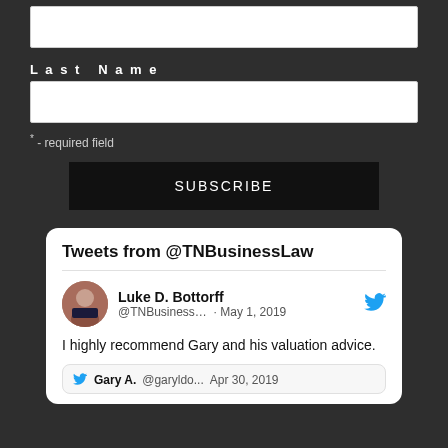Last Name
* - required field
SUBSCRIBE
Tweets from @TNBusinessLaw
Luke D. Bottorff @TNBusiness... · May 1, 2019
I highly recommend Gary and his valuation advice.
Gary A. @garyldo... Apr 30, 2019